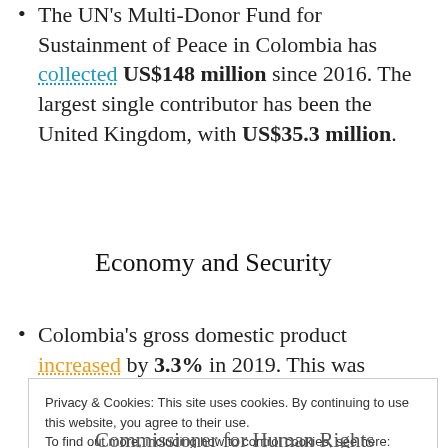The UN's Multi-Donor Fund for Sustainment of Peace in Colombia has collected US$148 million since 2016. The largest single contributor has been the United Kingdom, with US$35.3 million.
Economy and Security
Colombia's gross domestic product increased by 3.3% in 2019. This was
Privacy & Cookies: This site uses cookies. By continuing to use this website, you agree to their use. To find out more, including how to control cookies, see here: Cookie Policy
Commissioner for Human Rights